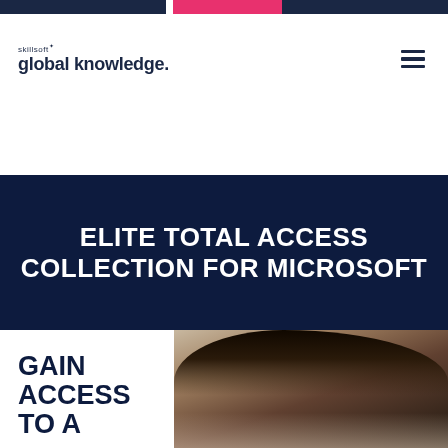skillsoft global knowledge.
ELITE TOTAL ACCESS COLLECTION FOR MICROSOFT
GAIN ACCESS TO A
[Figure (photo): Close-up photo of a person (woman with dark hair) in a blurred background setting]